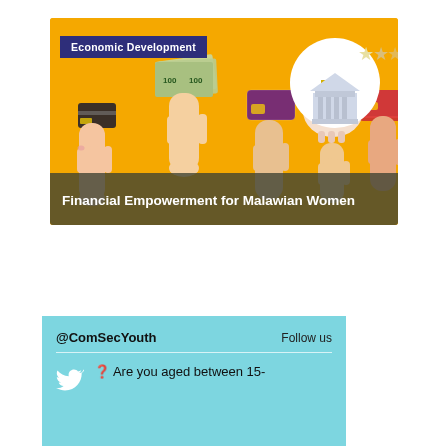[Figure (illustration): Financial empowerment banner image with yellow background showing hands holding cash, credit cards, and a piggy bank. A bank building icon with stars is in the upper right. A dark navy label reads 'Economic Development' in the upper left. A dark overlay at the bottom reads 'Financial Empowerment for Malawian Women' in white text.]
[Figure (screenshot): Search bar with 'Search' placeholder text and a teal search button with magnifying glass icon.]
[Figure (screenshot): Light blue social media block showing '@ComSecYouth' handle and 'Follow us' link, a divider, and a Twitter bird icon next to tweet text beginning 'Are you aged between 15-']